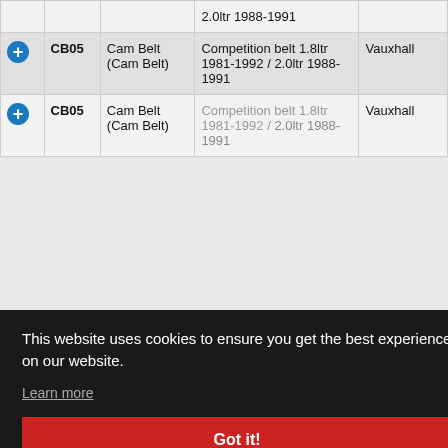|  | Code | Type | Description | Brand |
| --- | --- | --- | --- | --- |
|  |  |  | 2.0ltr 1988-1991 |  |
| + | CB05 | Cam Belt (Cam Belt) | Competition belt 1.8ltr 1981-1992 / 2.0ltr 1988-1991 | Vauxhall |
| + | CB05 | Cam Belt (Cam Belt) | Competition belt 1.8ltr 1981-1992 / 2.0ltr 1988-1991 | Vauxhall |
This website uses cookies to ensure you get the best experience on our website.
Learn more
Got it!
NEED SUPPORT?
info@kentcams.com